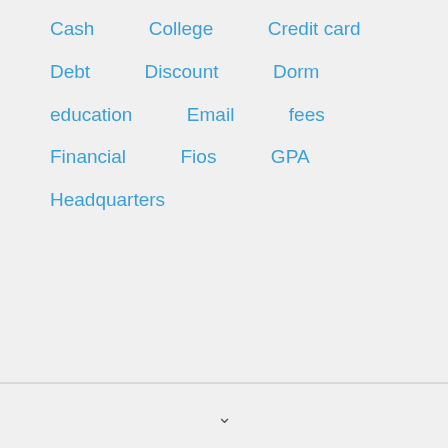Cash
College
Credit card
Debt
Discount
Dorm
education
Email
fees
Financial
Fios
GPA
Headquarters